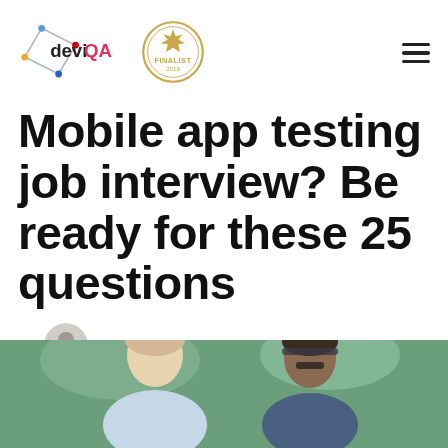deviQA — Finalist badge — Hamburger menu
Mobile app testing job interview? Be ready for these 25 questions
By Helgi Saddekow on 3/20/2019
[Figure (photo): Two people sitting outdoors, appears to be an interview or conversation setting, cropped at bottom of page]